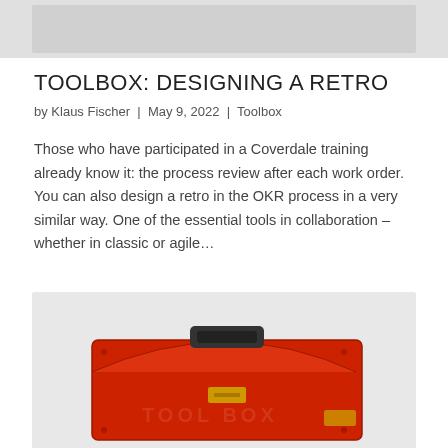[Figure (photo): Gray rectangular banner image at the top of the page]
TOOLBOX: DESIGNING A RETRO
by Klaus Fischer  |  May 9, 2022  |  Toolbox
Those who have participated in a Coverdale training already know it: the process review after each work order. You can also design a retro in the OKR process in a very similar way. One of the essential tools in collaboration – whether in classic or agile…
[Figure (photo): Photograph of a red metal toolbox with the text TOOL BOX embossed on its front, shown against a light gray background]